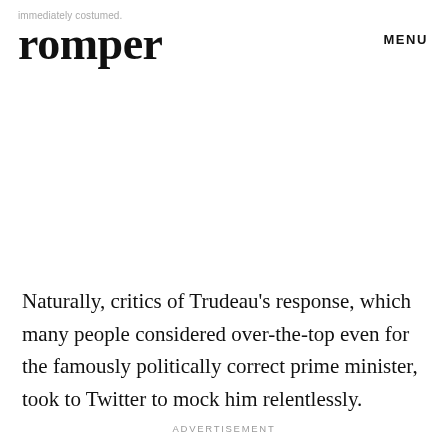immediately costumed.
romper
MENU
Naturally, critics of Trudeau's response, which many people considered over-the-top even for the famously politically correct prime minister, took to Twitter to mock him relentlessly.
ADVERTISEMENT